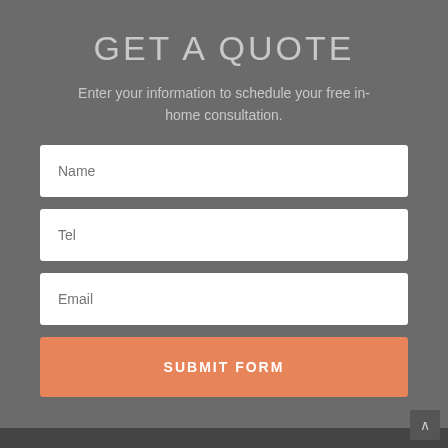GET A QUOTE
Enter your information to schedule your free in-home consultation.
Name
Tel
Email
SUBMIT FORM